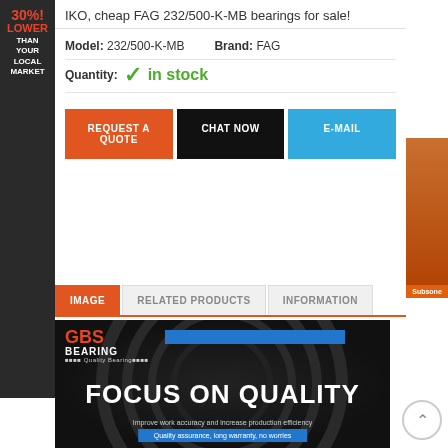IKO, cheap FAG 232/500-K-MB bearings for sale!
Model: 232/500-K-MB    Brand: FAG
Quantity: ✓ in stock
REQUEST A QUOTE  CHAT NOW  E-MAIL
IMAGE  RELATED PRODUCTS  INFORMATION
[Figure (logo): GBS Bearing logo with FOCUS ON QUALITY text on dark background with circular pattern. Text includes: GBS BEARING, FOCUS ON QUALITY, Improve work accuracy and increase production efficiency, Quality assurance, long warranty, no worries]